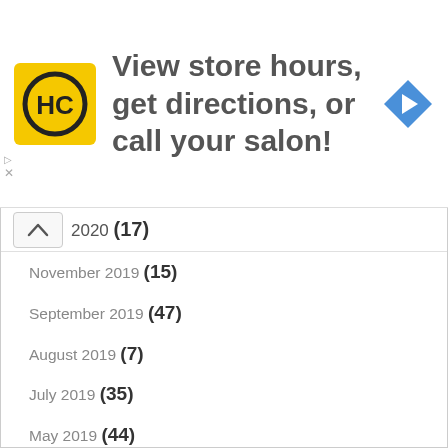[Figure (logo): HC logo - yellow square with HC text in circle, and blue navigation arrow icon. Ad banner with text 'View store hours, get directions, or call your salon!']
2020 (17)
November 2019 (15)
September 2019 (47)
August 2019 (7)
July 2019 (35)
May 2019 (44)
April 2019 (62)
March 2019 (63)
January 2019 (6)
December 2018 (29)
November 2018 (93)
October 2018 (41)
September 2018 (76)
August 2018 (82)